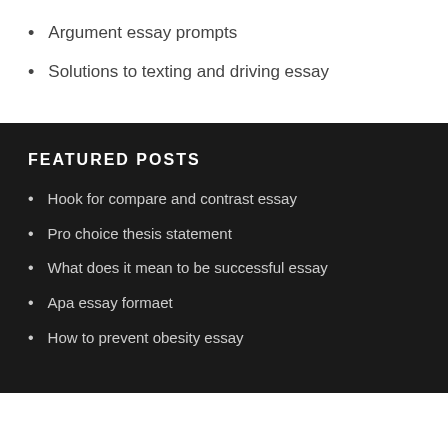Argument essay prompts
Solutions to texting and driving essay
FEATURED POSTS
Hook for compare and contrast essay
Pro choice thesis statement
What does it mean to be successful essay
Apa essay formaet
How to prevent obesity essay